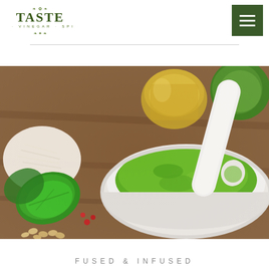[Figure (logo): TASTE oil vinegar spice logo with decorative olive branch elements]
[Figure (other): Hamburger menu button - dark green square with three white horizontal lines]
[Figure (photo): Close-up photo of bright green pesto sauce in a white mortar bowl with a white pestle, surrounded by basil leaves, pine nuts, grated parmesan cheese, and olive oil on a wooden cutting board]
FUSED & INFUSED